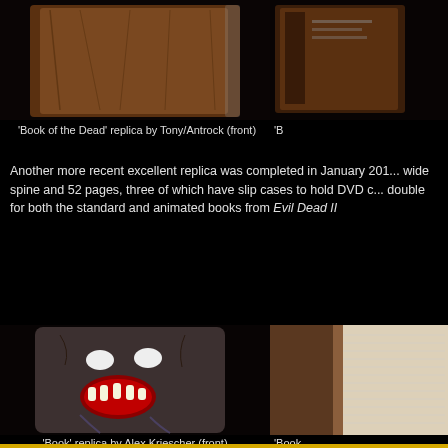[Figure (photo): Top left: 'Book of the Dead' replica by Tony/Antrock, front view showing textured brown cover]
[Figure (photo): Top right: partial view of another 'Book of the Dead' replica]
'Book of the Dead' replica by Tony/Antrock (front)
'B...
Another more recent excellent replica was completed in January 201... wide spine and 52 pages, three of which have slip cases to hold DVD c... double for both the standard and animated books from Evil Dead II
[Figure (photo): Bottom left: 'Book' replica by Alex Kriescher, front view showing face with eyes and open mouth with teeth]
[Figure (photo): Bottom right: side/spine view of book replica showing pages]
'Book' replica by Alex Kriescher (front)
'Book...